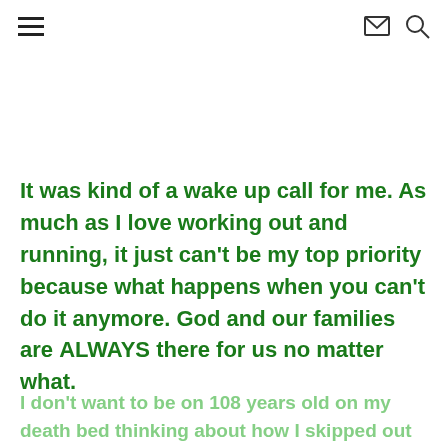[hamburger menu icon] [envelope icon] [search icon]
It was kind of a wake up call for me.  As much as I love working out and running, it just can't be my top priority because what happens when you can't do it anymore. God and our families are ALWAYS there for us no matter what.
I don't want to be on 108 years old on my death bed thinking about how I skipped out on amazing